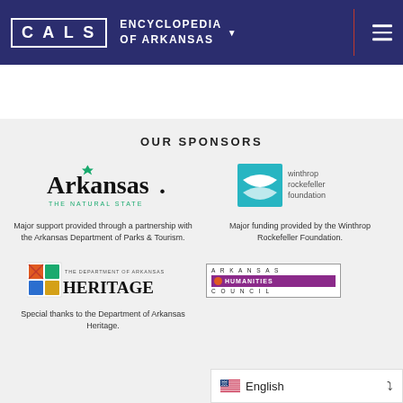CALS ENCYCLOPEDIA OF ARKANSAS
OUR SPONSORS
[Figure (logo): Arkansas The Natural State logo]
Major support provided through a partnership with the Arkansas Department of Parks & Tourism.
[Figure (logo): Winthrop Rockefeller Foundation logo]
Major funding provided by the Winthrop Rockefeller Foundation.
[Figure (logo): The Department of Arkansas Heritage logo]
Special thanks to the Department of Arkansas Heritage.
[Figure (logo): Arkansas Humanities Council logo]
English language selector